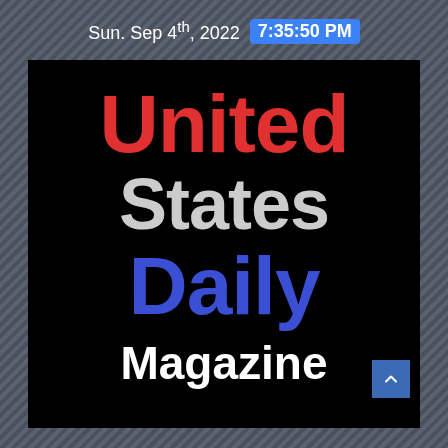Sun. Sep 4th, 2022  7:35:50 PM
[Figure (logo): United States Daily Magazine logo on black background with 'United' in red, 'States' in white/gray, 'Daily' in blue, and 'Magazine' in white below]
United States Daily Magazine